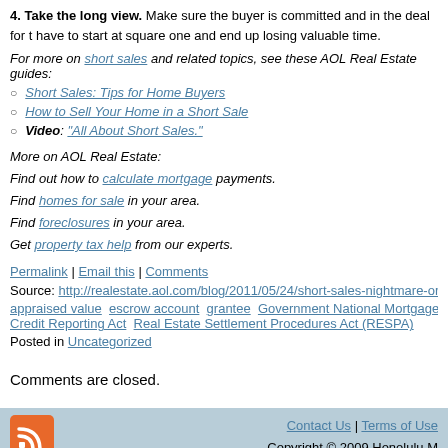4. Take the long view. Make sure the buyer is committed and in the deal for the long haul, or you might have to start at square one and end up losing valuable time.
For more on short sales and related topics, see these AOL Real Estate guides:
Short Sales: Tips for Home Buyers
How to Sell Your Home in a Short Sale
Video: "All About Short Sales."
More on AOL Real Estate:
Find out how to calculate mortgage payments.
Find homes for sale in your area.
Find foreclosures in your area.
Get property tax help from our experts.
Permalink | Email this | Comments
Source: http://realestate.aol.com/blog/2011/05/24/short-sales-nightmare-or-a-p…
appraised value  escrow account  grantee  Government National Mortgage A… Credit Reporting Act  Real Estate Settlement Procedures Act (RESPA)
Posted in Uncategorized
Comments are closed.
Contact Us | Terms of Use
Copyright © 2009 Honolulu M…
Powered by WordPress and WordPress Theme created with Artisteer.